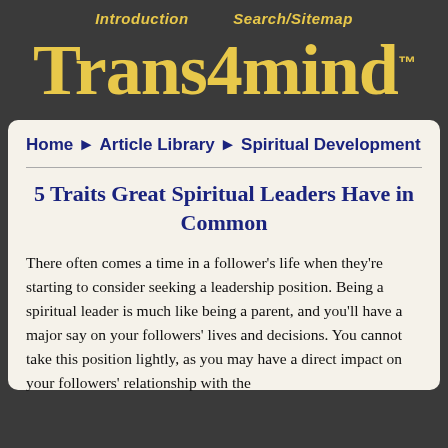Introduction    Search/Sitemap
Trans4mind™
Home ► Article Library ► Spiritual Development
5 Traits Great Spiritual Leaders Have in Common
There often comes a time in a follower's life when they're starting to consider seeking a leadership position. Being a spiritual leader is much like being a parent, and you'll have a major say on your followers' lives and decisions. You cannot take this position lightly, as you may have a direct impact on your followers' relationship with the